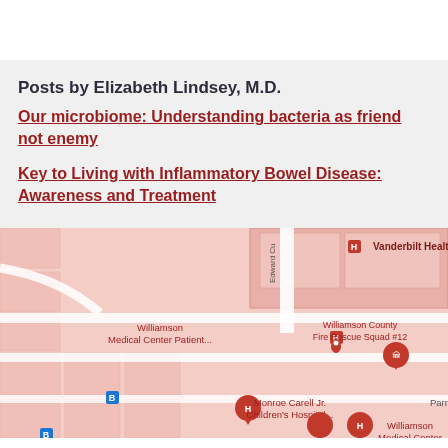Posts by Elizabeth Lindsey, M.D.
Our microbiome: Understanding bacteria as friend not enemy
Key to Living with Inflammatory Bowel Disease: Awareness and Treatment
[Figure (map): Google Maps view showing Vanderbilt Health, Williamson Medical Center Patient area, Williamson County Fire Rescue Squad #12, Monroe Carell Jr. Children's Hospital, Williamson Medical Center, and a bus stop marker. Streets include Edward Cu(rry). Map background is pink/light red with street grid.]